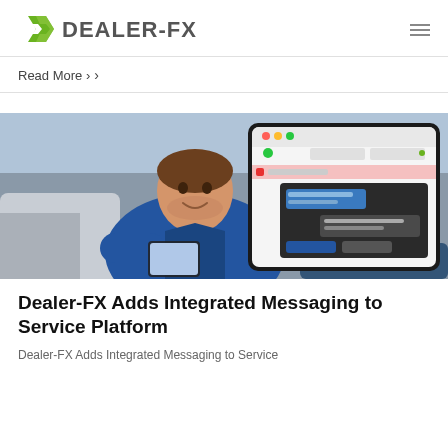DEALER-FX
Read More >
[Figure (photo): A smiling mechanic in a blue uniform holding a tablet, standing in an auto service garage. In the background, another mechanic works on a vehicle. A software interface/messaging screen is overlaid on the right side of the image, showing a tablet with a service platform application.]
Dealer-FX Adds Integrated Messaging to Service Platform
Dealer-FX Adds Integrated Messaging to Service